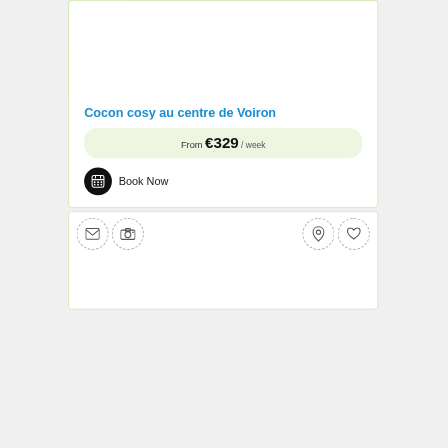[Figure (photo): Interior room photo of a cosy apartment with wooden floor, sofa, plant, and a Wi-Fi badge and COVID-19 no-entry icon overlaid]
Cocon cosy au centre de Voiron
From €329 / week
Book Now
[Figure (infographic): Icon row with envelope, camera, map pin, and heart icons in dashed circles]